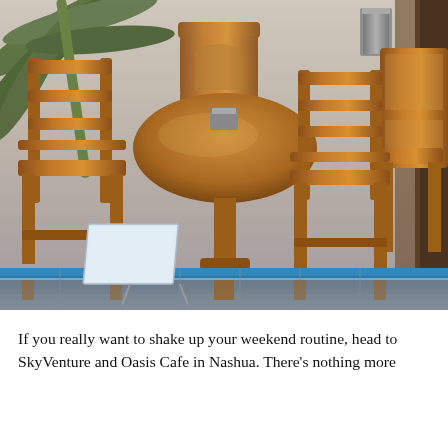[Figure (photo): Outdoor café seating area showing wooden bamboo-style chairs and a round wooden table on a tiled floor. A blue railing or divider separates upper and lower areas. A white sign sits on the lower floor. A palm plant is visible at upper left.]
If you really want to shake up your weekend routine, head to SkyVenture and Oasis Cafe in Nashua. There's nothing more